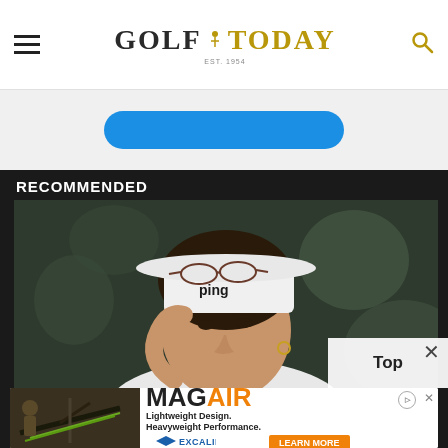GOLF TODAY
[Figure (other): Blue pill-shaped button on light grey background]
RECOMMENDED
[Figure (photo): Female golfer wearing white Ping cap with sunglasses on brim, looking forward, photographed against blurred green background]
[Figure (other): Overlay popup showing 'Top' with close X button]
[Figure (other): Advertisement banner: MAGAIR by Excalibur - Lightweight Design. Heavyweight Performance. Learn More.]